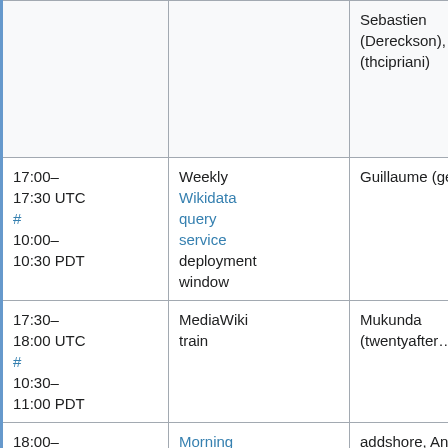| Time | Event | Person |
| --- | --- | --- |
|  |  | Sebastien (Dereckson), (thcipriani) |
| 17:00–17:30 UTC # 10:00–10:30 PDT | Weekly Wikidata query service deployment window | Guillaume (geh… |
| 17:30–18:00 UTC # 10:30–11:00 PDT | MediaWiki train | Mukunda (twentyafter… |
| 18:00–19:00 UTC | Morning … | addshore, Ant… (hashar), Brad… (anomie), Cha… (RainbowSpri… Katie (aude), M… |